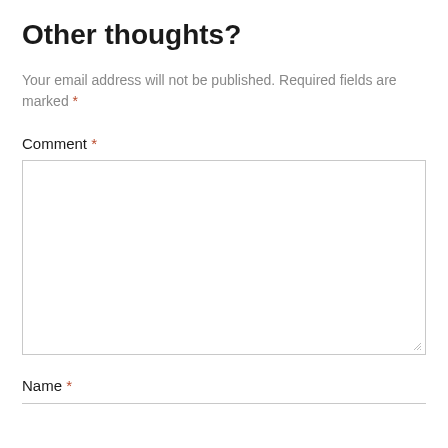Other thoughts?
Your email address will not be published. Required fields are marked *
Comment *
Name *